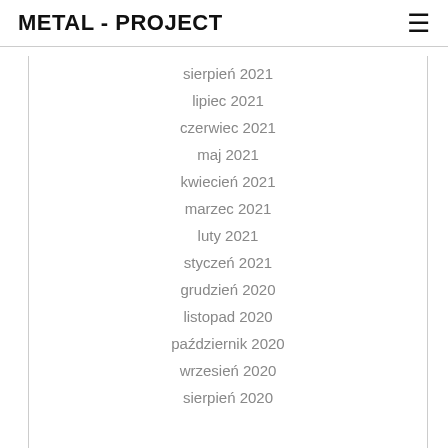METAL - PROJECT
sierpień 2021
lipiec 2021
czerwiec 2021
maj 2021
kwiecień 2021
marzec 2021
luty 2021
styczeń 2021
grudzień 2020
listopad 2020
październik 2020
wrzesień 2020
sierpień 2020